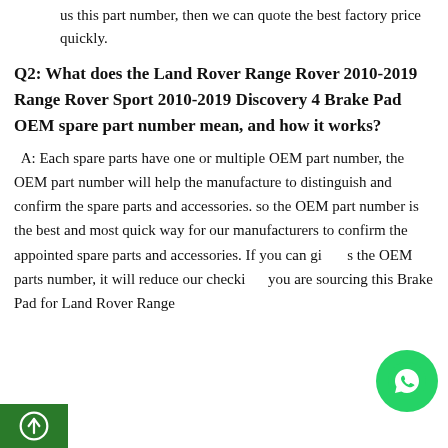us this part number, then we can quote the best factory price quickly.
Q2: What does the Land Rover Range Rover 2010-2019 Range Rover Sport 2010-2019 Discovery 4 Brake Pad OEM spare part number mean, and how it works?
A: Each spare parts have one or multiple OEM part number, the OEM part number will help the manufacture to distinguish and confirm the spare parts and accessories. so the OEM part number is the best and most quick way for our manufacturers to confirm the appointed spare parts and accessories. If you can give us the OEM parts number, it will reduce our checking. you are sourcing this Brake Pad for Land Rover Range